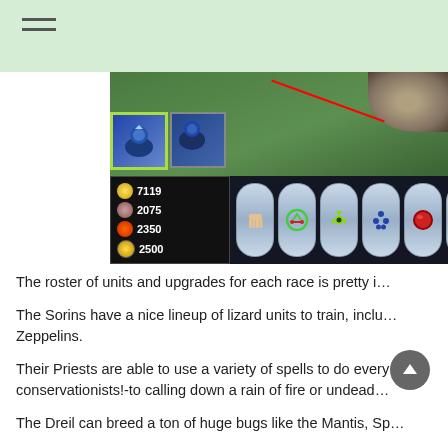[Figure (screenshot): Game screenshot showing a real-time strategy game interface. Green terrain map visible at top. Bottom portion shows a HUD with unit portraits on the left (two blue-armored units), resource counters showing values 7119, 2075, 2350, 2500, and a row of action buttons including a hand/stop icon, recycle icon, radiation/upgrade icon, unit formation icon, and a red orb icon. Remaining slots are empty silver capsule-shaped buttons.]
The roster of units and upgrades for each race is pretty i…
The Sorins have a nice lineup of lizard units to train, inclu… Zeppelins.
Their Priests are able to use a variety of spells to do every… conservationists!-to calling down a rain of fire or undead…
The Dreil can breed a ton of huge bugs like the Mantis, Sp…
In order to accommodate their need for fresh cocoons, t… including a giant worm that burrows beneath the ground.